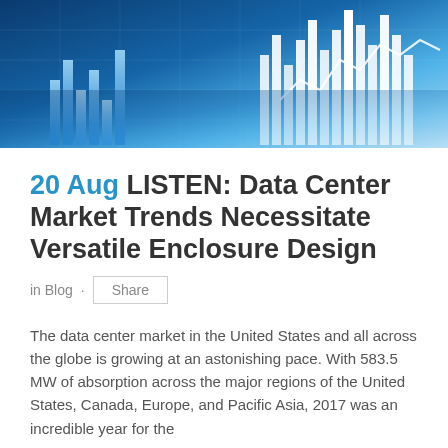[Figure (photo): Hero banner image showing a glowing blue financial/data chart visualization with bar charts and line graphs on a digital grid background]
20 Aug LISTEN: Data Center Market Trends Necessitate Versatile Enclosure Design
in Blog · Share
The data center market in the United States and all across the globe is growing at an astonishing pace. With 583.5 MW of absorption across the major regions of the United States, Canada, Europe, and Pacific Asia, 2017 was an incredible year for the